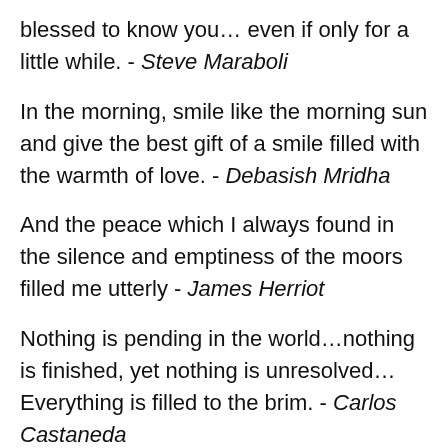blessed to know you… even if only for a little while. - Steve Maraboli
In the morning, smile like the morning sun and give the best gift of a smile filled with the warmth of love. - Debasish Mridha
And the peace which I always found in the silence and emptiness of the moors filled me utterly - James Herriot
Nothing is pending in the world…nothing is finished, yet nothing is unresolved… Everything is filled to the brim. - Carlos Castaneda
Don't try to rush things: for the cup to run